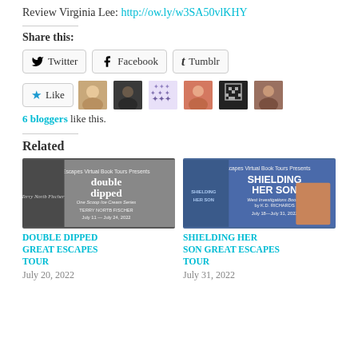Review Virginia Lee: http://ow.ly/w3SA50vlKHY
Share this:
Twitter  Facebook  Tumblr
Like  [avatars]  6 bloggers like this.
Related
[Figure (photo): Book tour banner for Double Dipped]
DOUBLE DIPPED GREAT ESCAPES TOUR
July 20, 2022
[Figure (photo): Book tour banner for Shielding Her Son]
SHIELDING HER SON GREAT ESCAPES TOUR
July 31, 2022